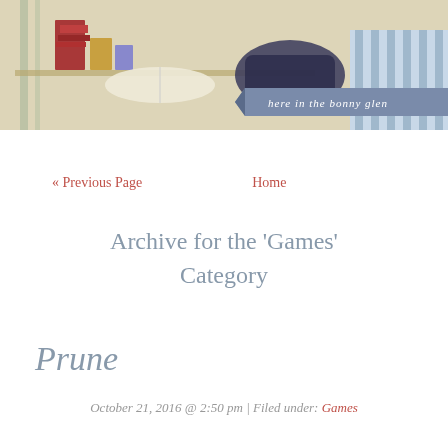[Figure (illustration): Illustrated banner showing books, papers, and a couch with striped cushions in a painterly style. Text ribbon reads 'here in the bonny glen' on a blue-grey banner shape on the right side.]
« Previous Page    Home
Archive for the 'Games' Category
Prune
October 21, 2016 @ 2:50 pm | Filed under: Games